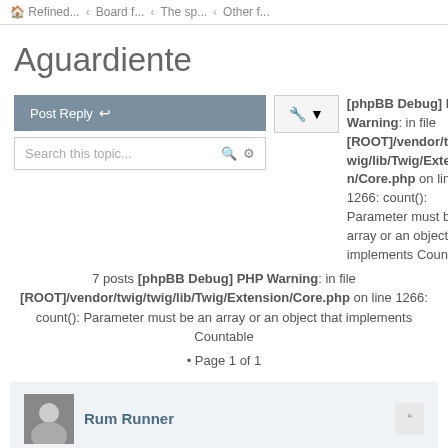🏠 Refined... ‹ Board f... ‹ The sp... ‹ Other f...
Aguardiente
[phpBB Debug] PHP Warning: in file [ROOT]/vendor/twig/twig/lib/Twig/Extension/Core.php on line 1266: count(): Parameter must be an array or an object that implements Countable
7 posts [phpBB Debug] PHP Warning: in file [ROOT]/vendor/twig/twig/lib/Twig/Extension/Core.php on line 1266: count(): Parameter must be an array or an object that implements Countable
• Page 1 of 1
Rum Runner
[phpBB Debug] PHP Warning: in file [ROOT]/vendor/twig/twig/lib/Twig/Extension/Core.php on line 1266: count(): Parameter must be an array or